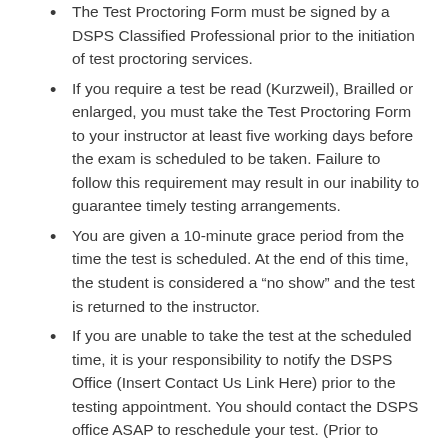The Test Proctoring Form must be signed by a DSPS Classified Professional prior to the initiation of test proctoring services.
If you require a test be read (Kurzweil), Brailled or enlarged, you must take the Test Proctoring Form to your instructor at least five working days before the exam is scheduled to be taken. Failure to follow this requirement may result in our inability to guarantee timely testing arrangements.
You are given a 10-minute grace period from the time the test is scheduled. At the end of this time, the student is considered a “no show” and the test is returned to the instructor.
If you are unable to take the test at the scheduled time, it is your responsibility to notify the DSPS Office (Insert Contact Us Link Here) prior to the testing appointment. You should contact the DSPS office ASAP to reschedule your test. (Prior to rescheduling, you must get approval